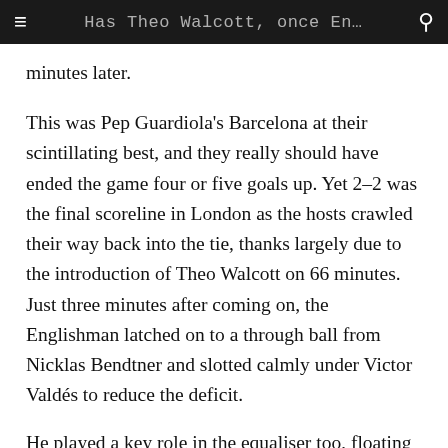Has Theo Walcott, once En…
minutes later.
This was Pep Guardiola's Barcelona at their scintillating best, and they really should have ended the game four or five goals up. Yet 2–2 was the final scoreline in London as the hosts crawled their way back into the tie, thanks largely due to the introduction of Theo Walcott on 66 minutes. Just three minutes after coming on, the Englishman latched on to a through ball from Nicklas Bendtner and slotted calmly under Victor Valdés to reduce the deficit.
He played a key role in the equaliser too, floating a cross into the box for Bendtner to nod into the path of Cesc Fàbregas, who slotted home from a yard or two.